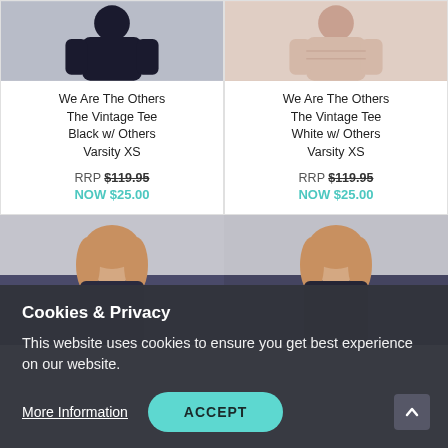[Figure (photo): Product image of dark clothing item (top row, left card)]
We Are The Others The Vintage Tee Black w/ Others Varsity XS
RRP $119.95
NOW $25.00
[Figure (photo): Product image of pink/white clothing item (top row, right card)]
We Are The Others The Vintage Tee White w/ Others Varsity XS
RRP $119.95
NOW $25.00
[Figure (photo): Photo of woman wearing dark sweater (bottom left)]
[Figure (photo): Photo of woman wearing dark sweater (bottom right)]
Cookies & Privacy
This website uses cookies to ensure you get best experience on our website.
More Information
ACCEPT